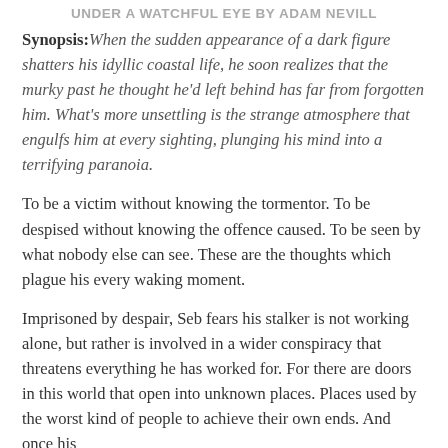UNDER A WATCHFUL EYE BY ADAM NEVILL
Synopsis: When the sudden appearance of a dark figure shatters his idyllic coastal life, he soon realizes that the murky past he thought he'd left behind has far from forgotten him. What's more unsettling is the strange atmosphere that engulfs him at every sighting, plunging his mind into a terrifying paranoia.
To be a victim without knowing the tormentor. To be despised without knowing the offence caused. To be seen by what nobody else can see. These are the thoughts which plague his every waking moment.
Imprisoned by despair, Seb fears his stalker is not working alone, but rather is involved in a wider conspiracy that threatens everything he has worked for. For there are doors in this world that open into unknown places. Places used by the worst kind of people to achieve their own ends. And once his